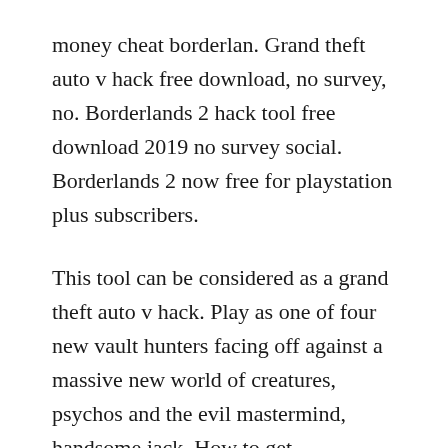money cheat borderlan. Grand theft auto v hack free download, no survey, no. Borderlands 2 hack tool free download 2019 no survey social. Borderlands 2 now free for playstation plus subscribers.
This tool can be considered as a grand theft auto v hack. Play as one of four new vault hunters facing off against a massive new world of creatures, psychos and the evil mastermind, handsome jack. How to get borderlands the presequel for free 2017 no. Borderlands 2 cheats download for free